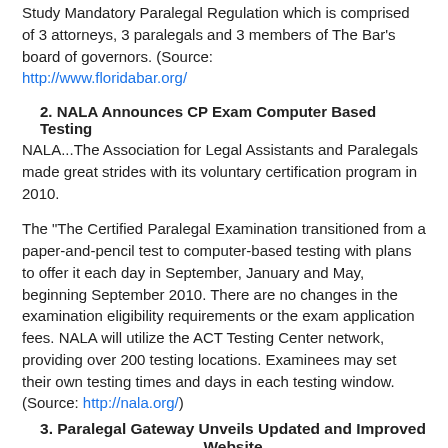Study Mandatory Paralegal Regulation which is comprised of 3 attorneys, 3 paralegals and 3 members of The Bar's board of governors. (Source: http://www.floridabar.org/
2. NALA Announces CP Exam Computer Based Testing
NALA...The Association for Legal Assistants and Paralegals made great strides with its voluntary certification program in 2010.
The "The Certified Paralegal Examination transitioned from a paper-and-pencil test to computer-based testing with plans to offer it each day in September, January and May, beginning September 2010. There are no changes in the examination eligibility requirements or the exam application fees. NALA will utilize the ACT Testing Center network, providing over 200 testing locations. Examinees may set their own testing times and days in each testing window. (Source: http://nala.org/)
3. Paralegal Gateway Unveils Updated and Improved Website
The Paralegal Gateway website took a brief hiatus in 2010